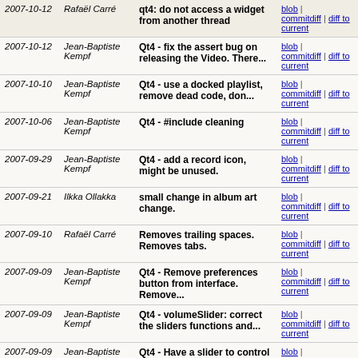| Date | Author | Message | Links |
| --- | --- | --- | --- |
| 2007-10-12 | Rafaël Carré | qt4: do not access a widget from another thread | blob | commitdiff | diff to current |
| 2007-10-12 | Jean-Baptiste Kempf | Qt4 - fix the assert bug on releasing the Video. There... | blob | commitdiff | diff to current |
| 2007-10-10 | Jean-Baptiste Kempf | Qt4 - use a docked playlist, remove dead code, don... | blob | commitdiff | diff to current |
| 2007-10-06 | Jean-Baptiste Kempf | Qt4 - #include cleaning | blob | commitdiff | diff to current |
| 2007-09-29 | Jean-Baptiste Kempf | Qt4 - add a record icon, might be unused. | blob | commitdiff | diff to current |
| 2007-09-21 | Ilkka Ollakka | small change in album art change. | blob | commitdiff | diff to current |
| 2007-09-10 | Rafaël Carré | Removes trailing spaces. Removes tabs. | blob | commitdiff | diff to current |
| 2007-09-09 | Jean-Baptiste Kempf | Qt4 - Remove preferences button from interface. Remove... | blob | commitdiff | diff to current |
| 2007-09-09 | Jean-Baptiste Kempf | Qt4 - volumeSlider: correct the sliders functions and... | blob | commitdiff | diff to current |
| 2007-09-09 | Jean-Baptiste Kempf | Qt4 - Have a slider to control precisely the rate,... | blob | commitdiff | diff to current |